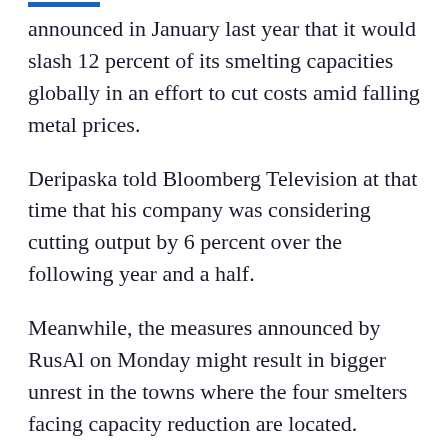announced in January last year that it would slash 12 percent of its smelting capacities globally in an effort to cut costs amid falling metal prices.
Deripaska told Bloomberg Television at that time that his company was considering cutting output by 6 percent over the following year and a half.
Meanwhile, the measures announced by RusAl on Monday might result in bigger unrest in the towns where the four smelters facing capacity reduction are located.
The Nadvoitsky smelter workers sent a petition to the government last month, asking to prevent the facility from closing.